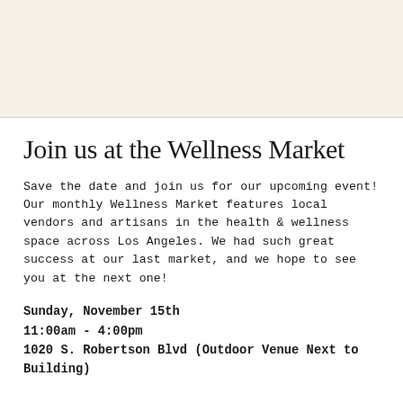[Figure (illustration): Beige/cream colored banner image area at the top of the page]
Join us at the Wellness Market
Save the date and join us for our upcoming event! Our monthly Wellness Market features local vendors and artisans in the health & wellness space across Los Angeles. We had such great success at our last market, and we hope to see you at the next one!
Sunday, November 15th
11:00am - 4:00pm
1020 S. Robertson Blvd (Outdoor Venue Next to Building)